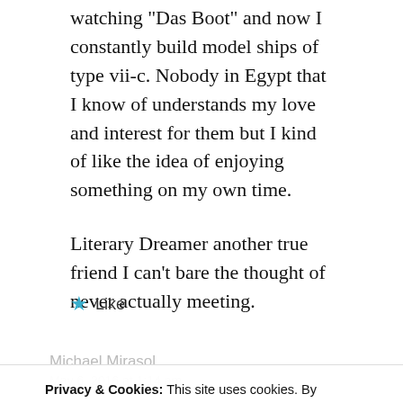watching "Das Boot" and now I constantly build model ships of type vii-c. Nobody in Egypt that I know of understands my love and interest for them but I kind of like the idea of enjoying something on my own time.
Literary Dreamer another true friend I can't bare the thought of never actually meeting.
★ Like
Michael Mirasol
May 6, 2016 at 1:14 am
Privacy & Cookies: This site uses cookies. By continuing to use this website, you agree to their use.
To find out more, including how to control cookies, see here: Cookie Policy
Close and accept
important to you and that's what matters. If there's ever a film festival in Seoul, let me know, who knows I